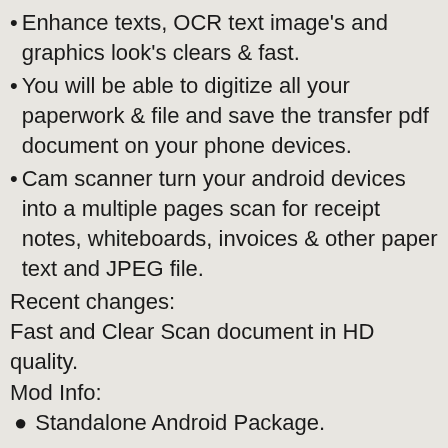• Enhance texts, OCR text image's and graphics look's clears & fast.
• You will be able to digitize all your paperwork & file and save the transfer pdf document on your phone devices.
• Cam scanner turn your android devices into a multiple pages scan for receipt notes, whiteboards, invoices & other paper text and JPEG file.
Recent changes:
Fast and Clear Scan document in HD quality.
Mod Info:
● Standalone Android Package.
● Premium Features Unlocked.
Mod by Hersh.
What's New:
– Bug fixed.
– Crashes removed.